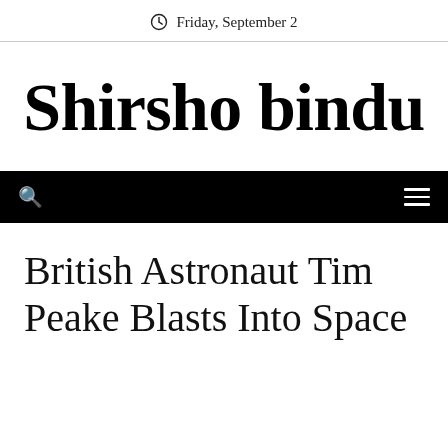Friday, September 2
Shirsho bindu
British Astronaut Tim Peake Blasts Into Space